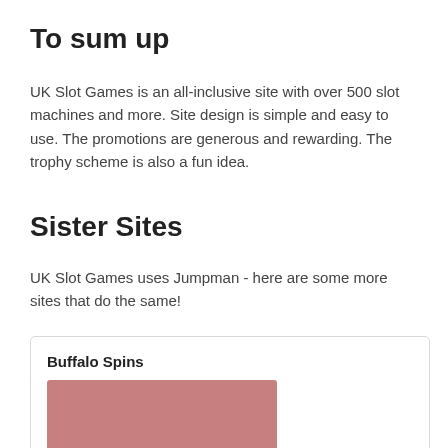To sum up
UK Slot Games is an all-inclusive site with over 500 slot machines and more. Site design is simple and easy to use. The promotions are generous and rewarding. The trophy scheme is also a fun idea.
Sister Sites
UK Slot Games uses Jumpman - here are some more sites that do the same!
[Figure (other): Card containing Buffalo Spins title and a pinkish-red image placeholder]